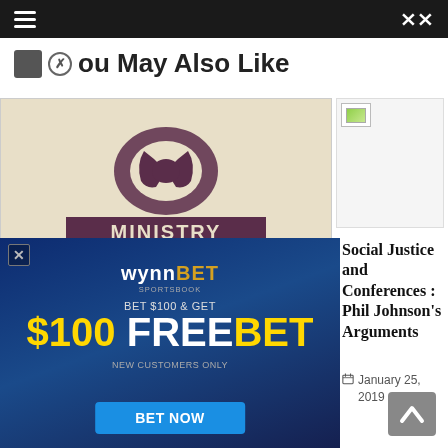Navigation bar with hamburger menu and shuffle icon
You May Also Like
[Figure (illustration): Ministry article thumbnail: vintage telephone image with 'MINISTRY' banner text on aged paper background]
Twisting the Calling
May 21, 2014
[Figure (photo): Broken image placeholder for Social Justice and Conferences article thumbnail]
Social Justice and Conferences : Phil Johnson's Arguments
January 25, 2019
[Figure (photo): Broken image placeholder for Who is Killing the SBC article thumbnail]
Who is Killing the SBC?
January 27, 2016
[Figure (photo): WynnBET sports betting advertisement: BET $100 & GET $100 FREE BET, NEW CUSTOMERS ONLY, BET NOW button, football player imagery]